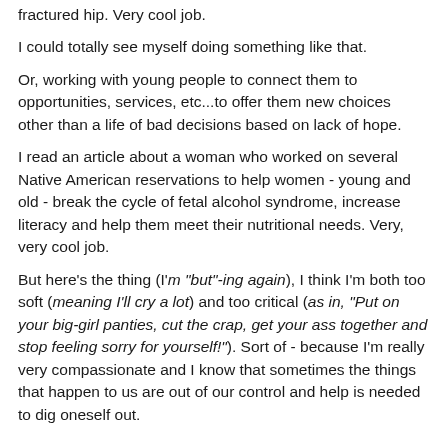fractured hip. Very cool job.
I could totally see myself doing something like that.
Or, working with young people to connect them to opportunities, services, etc...to offer them new choices other than a life of bad decisions based on lack of hope.
I read an article about a woman who worked on several Native American reservations to help women - young and old - break the cycle of fetal alcohol syndrome, increase literacy and help them meet their nutritional needs. Very, very cool job.
But here's the thing (I'm "but"-ing again), I think I'm both too soft (meaning I'll cry a lot) and too critical (as in, "Put on your big-girl panties, cut the crap, get your ass together and stop feeling sorry for yourself!"). Sort of - because I'm really very compassionate and I know that sometimes the things that happen to us are out of our control and help is needed to dig oneself out.